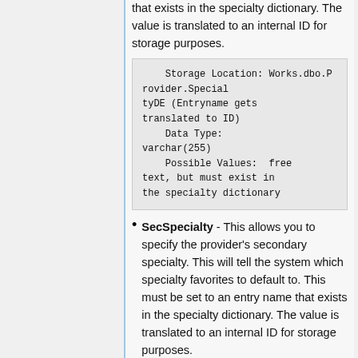that exists in the specialty dictionary. The value is translated to an internal ID for storage purposes.
Storage Location: Works.dbo.Provider.SpecialtyDE (Entryname gets translated to ID)
    Data Type: varchar(255)
    Possible Values: free text, but must exist in the specialty dictionary
SecSpecialty - This allows you to specify the provider's secondary specialty. This will tell the system which specialty favorites to default to. This must be set to an entry name that exists in the specialty dictionary. The value is translated to an internal ID for storage purposes.